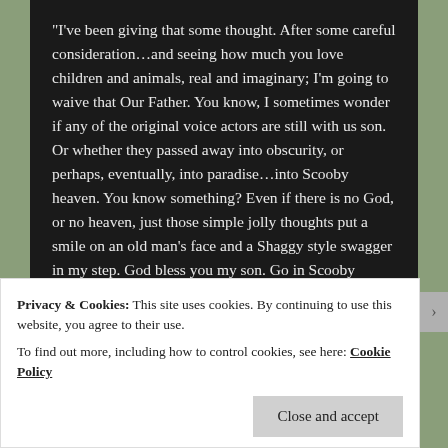“I’ve been giving that some thought. After some careful consideration…and seeing how much you love children and animals, real and imaginary; I’m going to waive that Our Father. You know, I sometimes wonder if any of the original voice actors are still with us son. Or whether they passed away into obscurity, or perhaps, eventually, into paradise…into Scooby heaven. You know something? Even if there is no God, or no heaven, just those simple jolly thoughts put a smile on an old man’s face and a Shaggy style swagger in my step. God bless you my son. Go in Scooby peace.”
[Figure (illustration): Colorful decorative image strip with orange, dark, and pink sections featuring small illustrated patterns and icons]
Privacy & Cookies: This site uses cookies. By continuing to use this website, you agree to their use.
To find out more, including how to control cookies, see here: Cookie Policy